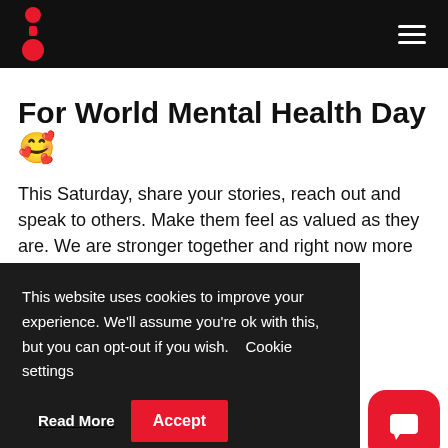Navigation bar with logo and hamburger menu
For World Mental Health Day 🥰
This Saturday, share your stories, reach out and speak to others. Make them feel as valued as they are. We are stronger together and right now more than ever,
This website uses cookies to improve your experience. We'll assume you're ok with this, but you can opt-out if you wish. Cookie settings Read More Accept